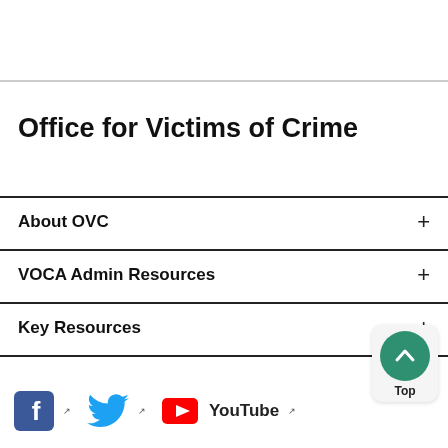Office for Victims of Crime
About OVC
VOCA Admin Resources
Key Resources
News
[Figure (logo): Social media icons: Facebook, Twitter, YouTube, with external link markers]